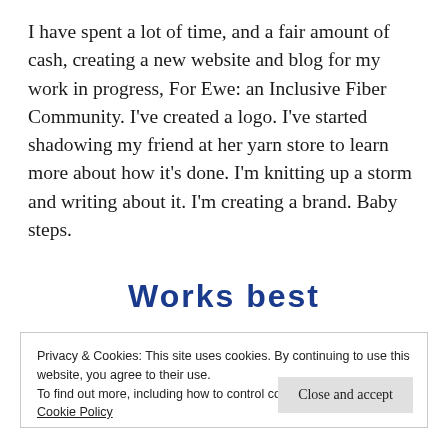I have spent a lot of time, and a fair amount of cash, creating a new website and blog for my work in progress, For Ewe: an Inclusive Fiber Community. I've created a logo. I've started shadowing my friend at her yarn store to learn more about how it's done. I'm knitting up a storm and writing about it. I'm creating a brand. Baby steps.
Works best
Privacy & Cookies: This site uses cookies. By continuing to use this website, you agree to their use.
To find out more, including how to control cookies, see here:
Cookie Policy
Close and accept